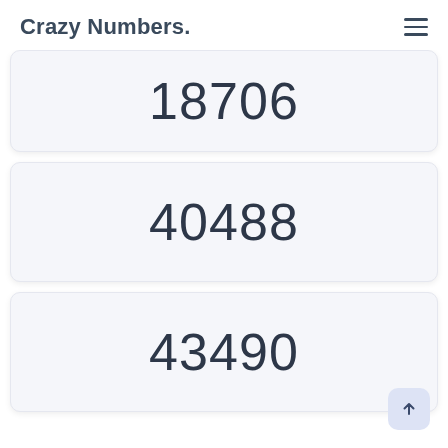Crazy Numbers.
18706
40488
43490